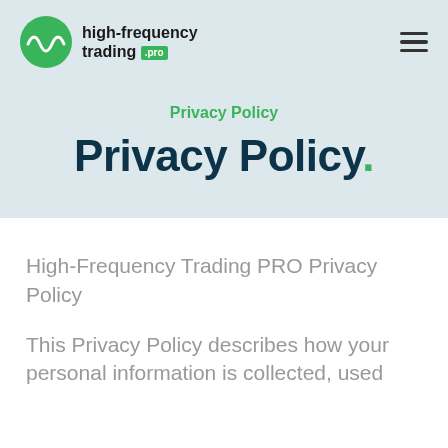high-frequency trading .pro
Privacy Policy
Privacy Policy.
High-Frequency Trading PRO Privacy Policy
This Privacy Policy describes how your personal information is collected, used